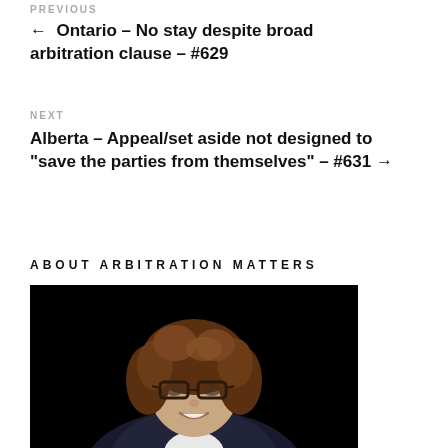PREVIOUS
← Ontario – No stay despite broad arbitration clause – #629
NEXT
Alberta – Appeal/set aside not designed to "save the parties from themselves" – #631 →
ABOUT ARBITRATION MATTERS
[Figure (photo): Professional headshot of a woman with curly brown hair and glasses, wearing a dark blazer, smiling against a black background]